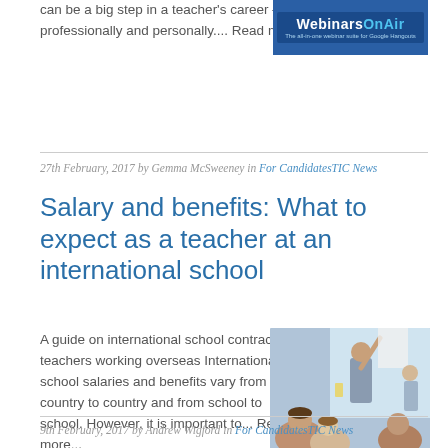can be a big step in a teacher's career – both professionally and personally.... Read more...
[Figure (logo): WebinarsOnAir logo on blue background]
27th February, 2017 by Gemma McSweeney in For CandidatesTIC News
Salary and benefits: What to expect as a teacher at an international school
A guide on international school contracts for teachers working overseas International school salaries and benefits vary from country to country and from school to school. However, it is important to... Read more...
[Figure (photo): A teacher pointing at a large display/poster while students look on in a classroom setting]
9th February, 2017 by Andrew Wigford in For CandidatesTIC News
Is there a problem...